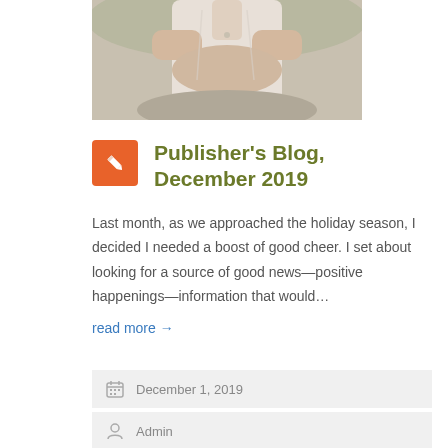[Figure (photo): Partial photo of a person in white clothing, arms crossed, seated at a stone or natural surface, photographed outdoors]
Publisher's Blog, December 2019
Last month, as we approached the holiday season, I decided I needed a boost of good cheer. I set about looking for a source of good news—positive happenings—information that would…
read more →
December 1, 2019
Admin